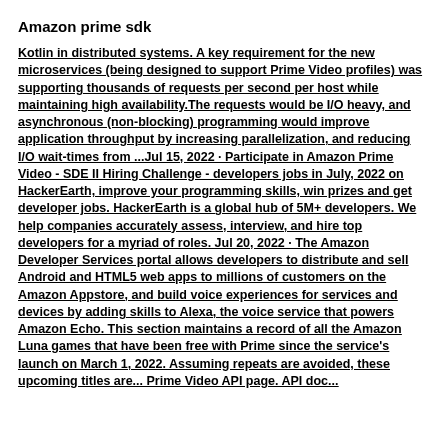Amazon prime sdk
Kotlin in distributed systems. A key requirement for the new microservices (being designed to support Prime Video profiles) was supporting thousands of requests per second per host while maintaining high availability.The requests would be I/O heavy, and asynchronous (non-blocking) programming would improve application throughput by increasing parallelization, and reducing I/O wait-times from ...Jul 15, 2022 · Participate in Amazon Prime Video - SDE II Hiring Challenge - developers jobs in July, 2022 on HackerEarth, improve your programming skills, win prizes and get developer jobs. HackerEarth is a global hub of 5M+ developers. We help companies accurately assess, interview, and hire top developers for a myriad of roles. Jul 20, 2022 · The Amazon Developer Services portal allows developers to distribute and sell Android and HTML5 web apps to millions of customers on the Amazon Appstore, and build voice experiences for services and devices by adding skills to Alexa, the voice service that powers Amazon Echo. This section maintains a record of all the Amazon Luna games that have been free with Prime since the service's launch on March 1, 2022. Assuming repeats are avoided, these upcoming titles are... Prime Video API page. API doc...